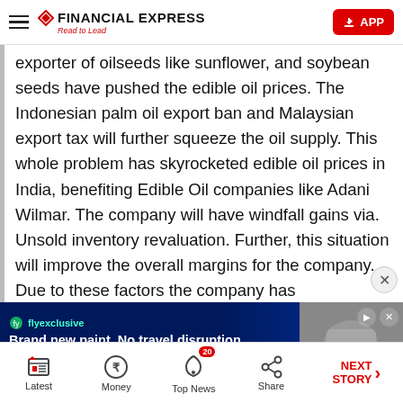Financial Express - Read to Lead
exporter of oilseeds like sunflower, and soybean seeds have pushed the edible oil prices. The Indonesian palm oil export ban and Malaysian export tax will further squeeze the oil supply. This whole problem has skyrocketed edible oil prices in India, benefiting Edible Oil companies like Adani Wilmar. The company will have windfall gains via. Unsold inventory revaluation. Further, this situation will improve the overall margins for the company. Due to these factors the company has
[Figure (screenshot): Advertisement banner for flyexclusive: 'Brand new paint. No travel disruption.' on dark blue background with image of hands on right side]
Latest | Money | Top News (20) | Share | NEXT STORY